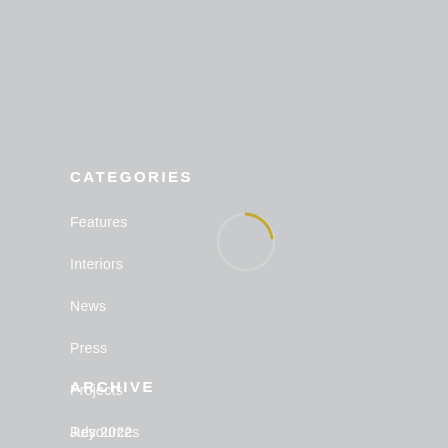CATEGORIES
Features
Interiors
News
Press
Projects
Resources
Uncategorized
[Figure (other): Loading spinner circle — a light gray circle outline with a golden/yellow arc at the top, indicating a loading animation]
ARCHIVE
July 2022